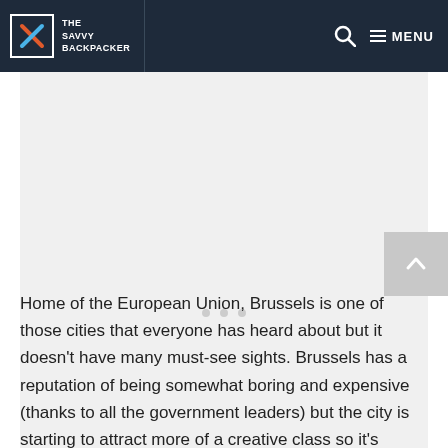THE SAVVY BACKPACKER — MENU
[Figure (other): Advertisement or content placeholder area with light gray background and three gray dots in the center]
Home of the European Union, Brussels is one of those cities that everyone has heard about but it doesn't have many must-see sights. Brussels has a reputation of being somewhat boring and expensive (thanks to all the government leaders) but the city is starting to attract more of a creative class so it's slowly shaking off